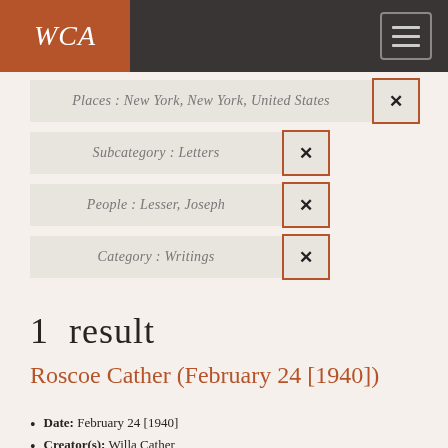WCA
Places : New York, New York, United States
Subcategory : Letters
People : Lesser, Joseph
Category : Writings
1 result
Roscoe Cather (February 24 [1940])
Date: February 24 [1940]
Creator(s): Willa Cather